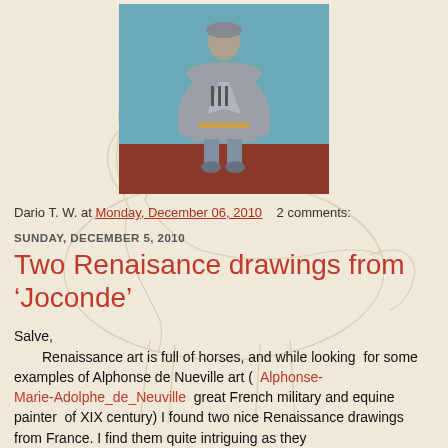[Figure (illustration): Faint pencil sketch of a horse in the background, spanning the full page as a watermark-style image]
[Figure (photo): Color painting/photo of a military figure in grey uniform coat standing in front of a teal/blue background with a red-brown floor]
Dario T. W. at Monday, December 06, 2010    2 comments:
SUNDAY, DECEMBER 5, 2010
Two Renaisance drawings from 'Joconde'
Salve,
    Renaissance art is full of horses, and while looking  for some examples of Alphonse de Nueville art (  Alphonse-Marie-Adolphe_de_Neuville  great French military and equine painter  of XIX century) I found two nice Renaissance drawings from France. I find them quite intriguing as they